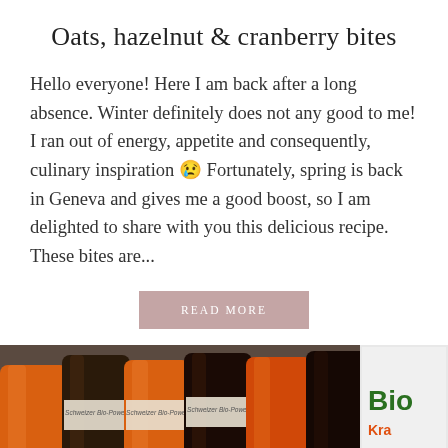Oats, hazelnut & cranberry bites
Hello everyone! Here I am back after a long absence. Winter definitely does not any good to me! I ran out of energy, appetite and consequently, culinary inspiration 😢 Fortunately, spring is back in Geneva and gives me a good boost, so I am delighted to share with you this delicious recipe. These bites are...
READ MORE
[Figure (photo): Close-up photo of several orange and dark juice bottles with labels reading 'Schweizer Bio-Power', alongside white packaging with green and orange 'Bio' branding and text including 'Kra'. A smaller 'Biott' label is visible at the bottom left.]